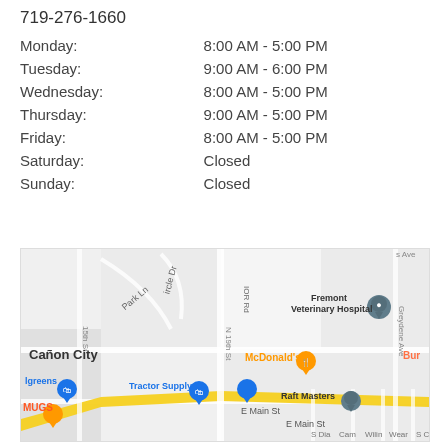719-276-1660
| Day | Hours |
| --- | --- |
| Monday: | 8:00 AM - 5:00 PM |
| Tuesday: | 9:00 AM - 6:00 PM |
| Wednesday: | 8:00 AM - 5:00 PM |
| Thursday: | 9:00 AM - 5:00 PM |
| Friday: | 8:00 AM - 5:00 PM |
| Saturday: | Closed |
| Sunday: | Closed |
[Figure (map): Google Maps showing Canon City area with Fremont Veterinary Hospital, McDonald's, Tractor Supply Co, Raft Masters, and other landmarks near E Main St / 15th St area.]